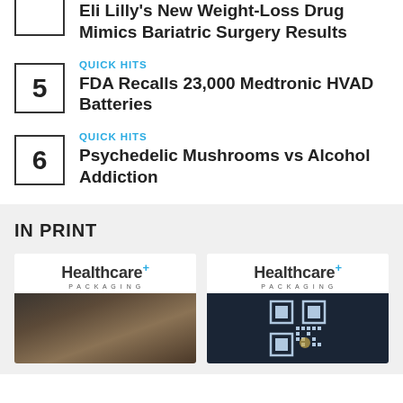Eli Lilly's New Weight-Loss Drug Mimics Bariatric Surgery Results
QUICK HITS
FDA Recalls 23,000 Medtronic HVAD Batteries
QUICK HITS
Psychedelic Mushrooms vs Alcohol Addiction
IN PRINT
[Figure (photo): Healthcare Packaging magazine cover with baby in bear hat]
[Figure (photo): Healthcare Packaging magazine cover with QR code]